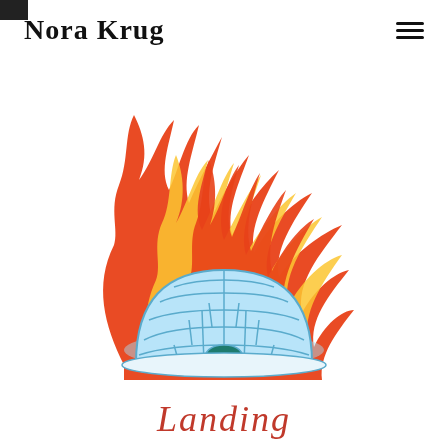Nora Krug
[Figure (illustration): Illustration of a blue igloo on fire with large red and orange flames rising above it against a white background]
Landing